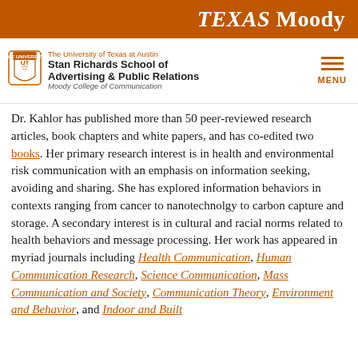TEXAS Moody
The University of Texas at Austin Stan Richards School of Advertising & Public Relations Moody College of Communication
Dr. Kahlor has published more than 50 peer-reviewed research articles, book chapters and white papers, and has co-edited two books. Her primary research interest is in health and environmental risk communication with an emphasis on information seeking, avoiding and sharing. She has explored information behaviors in contexts ranging from cancer to nanotechnolgy to carbon capture and storage. A secondary interest is in cultural and racial norms related to health behaviors and message processing. Her work has appeared in myriad journals including Health Communication, Human Communication Research, Science Communication, Mass Communication and Society, Communication Theory, Environment and Behavior, and Indoor and Built